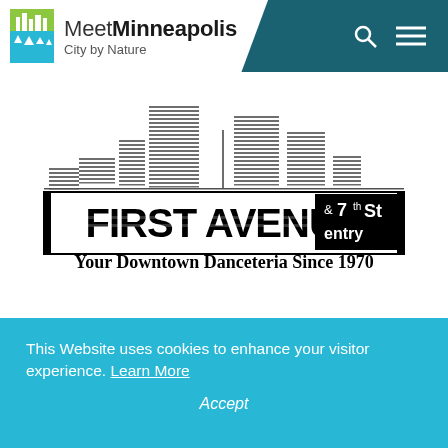Meet Minneapolis City by Nature
[Figure (logo): First Avenue & 7th St Entry logo with Minneapolis skyline silhouette above. Tagline: Your Downtown Danceteria Since 1970]
This Website uses cookies to enhance your visitor experience. Learn More
Accept